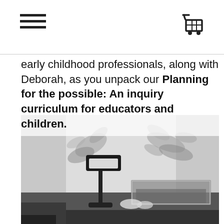[Navigation bar with hamburger menu and cart icon]
early childhood professionals, along with Deborah, as you unpack our Planning for the possible: An inquiry curriculum for educators and children.
[Figure (photo): Black and white photograph of a desk lamp on a table with leafy shadow patterns cast on a curtained window in the background, and a display case or terrarium on the table.]